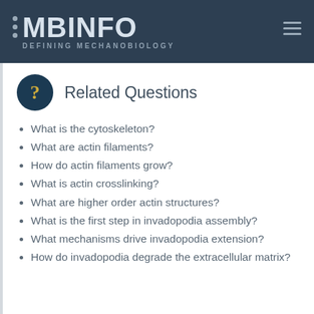MBINFO DEFINING MECHANOBIOLOGY
Related Questions
What is the cytoskeleton?
What are actin filaments?
How do actin filaments grow?
What is actin crosslinking?
What are higher order actin structures?
What is the first step in invadopodia assembly?
What mechanisms drive invadopodia extension?
How do invadopodia degrade the extracellular matrix?